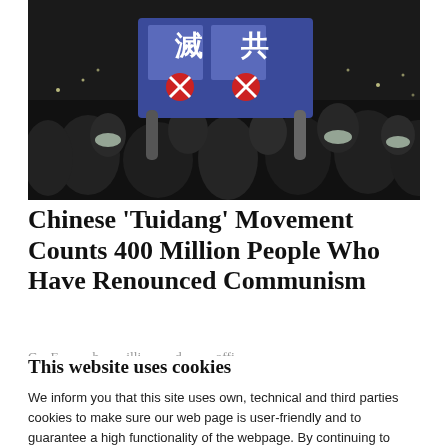[Figure (photo): Crowd of protesters at night holding up a blue banner with Chinese characters and a communist symbol crossed out, many wearing face masks.]
Chinese ‘Tuidang’ Movement Counts 400 Million People Who Have Renounced Communism
C… E… h… b… illi… … d… … offi…
This website uses cookies
We inform you that this site uses own, technical and third parties cookies to make sure our web page is user-friendly and to guarantee a high functionality of the webpage. By continuing to browse this website, you declare to accept the use of cookies.
OK